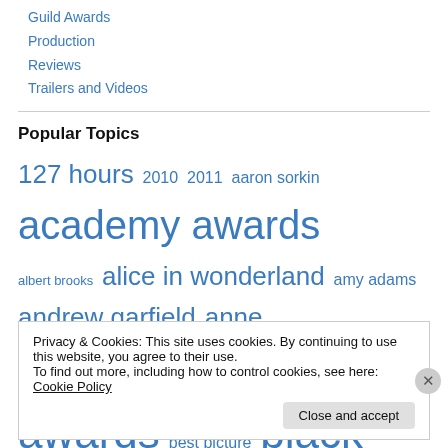Guild Awards
Production
Reviews
Trailers and Videos
Popular Topics
127 hours 2010 2011 aaron sorkin academy awards albert brooks alice in wonderland amy adams andrew garfield anne hathaway annette bening awards best picture black
Privacy & Cookies: This site uses cookies. By continuing to use this website, you agree to their use.
To find out more, including how to control cookies, see here: Cookie Policy
Close and accept